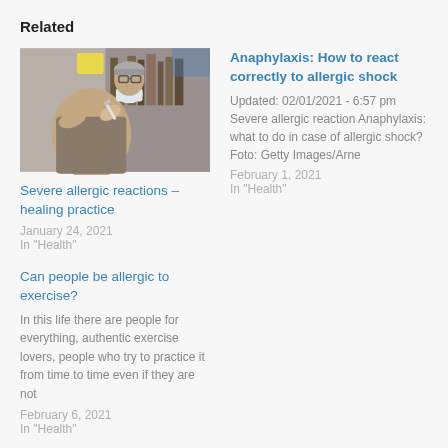Related
[Figure (photo): A healthcare worker in a mask administering a vaccine injection to a patient's arm in a medical setting]
Severe allergic reactions – healing practice
January 24, 2021
In "Health"
Anaphylaxis: How to react correctly to allergic shock
Updated: 02/01/2021 - 6:57 pm Severe allergic reaction Anaphylaxis: what to do in case of allergic shock? Foto: Getty Images/Arne
February 1, 2021
In "Health"
Can people be allergic to exercise?
In this life there are people for everything, authentic exercise lovers, people who try to practice it from time to time even if they are not
February 6, 2021
In "Health"